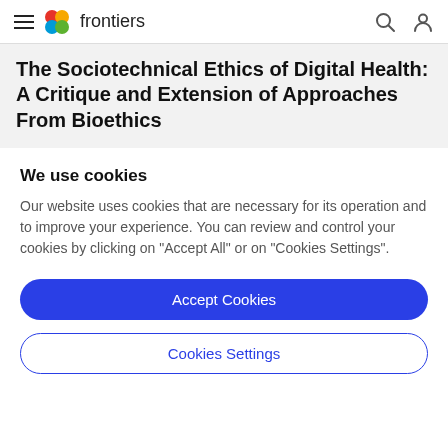frontiers
The Sociotechnical Ethics of Digital Health: A Critique and Extension of Approaches From Bioethics
We use cookies
Our website uses cookies that are necessary for its operation and to improve your experience. You can review and control your cookies by clicking on "Accept All" or on "Cookies Settings".
Accept Cookies
Cookies Settings